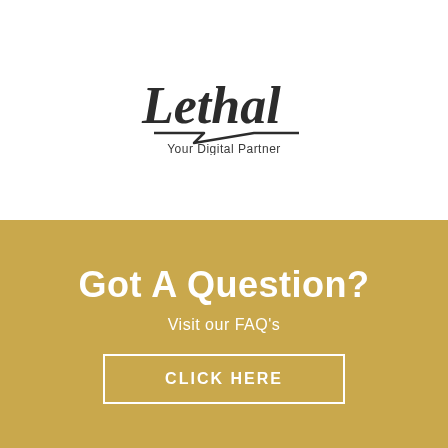[Figure (logo): Lethal logo with script-style text and lightning bolt underline, tagline 'Your Digital Partner']
Got A Question?
Visit our FAQ's
CLICK HERE